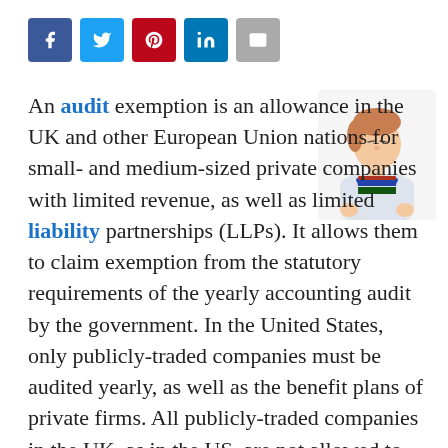[Figure (other): Social media sharing icons bar: Facebook (blue), Twitter (light blue), Pinterest (red), LinkedIn (dark blue), Email (gray)]
[Figure (photo): Photo of a person with short hair holding books, looking upward, white background]
An audit exemption is an allowance in the UK and other European Union nations for small- and medium-sized private companies with limited revenue, as well as limited liability partnerships (LLPs). It allows them to claim exemption from the statutory requirements of the yearly accounting audit by the government. In the United States, only publicly-traded companies must be audited yearly, as well as the benefit plans of private firms. All publicly-traded companies in the UK, as in the US, are not allowed to claim an audit exemption.